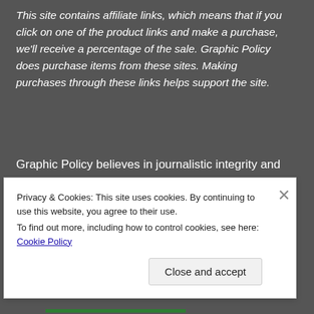This site contains affiliate links, which means that if you click on one of the product links and make a purchase, we'll receive a percentage of the sale. Graphic Policy does purchase items from these sites. Making purchases through these links helps support the site.
Graphic Policy believes in journalistic integrity and transparency.  We will disclose when a
Privacy & Cookies: This site uses cookies. By continuing to use this website, you agree to their use.
To find out more, including how to control cookies, see here: Cookie Policy
Close and accept